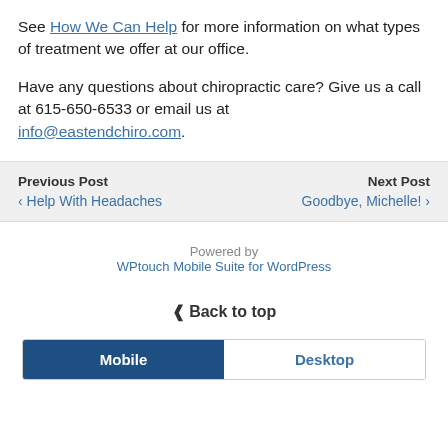See How We Can Help for more information on what types of treatment we offer at our office.
Have any questions about chiropractic care? Give us a call at 615-650-6533 or email us at info@eastendchiro.com.
Previous Post
‹ Help With Headaches
Next Post
Goodbye, Michelle! ›
Powered by
WPtouch Mobile Suite for WordPress
⋀ Back to top
Mobile  Desktop